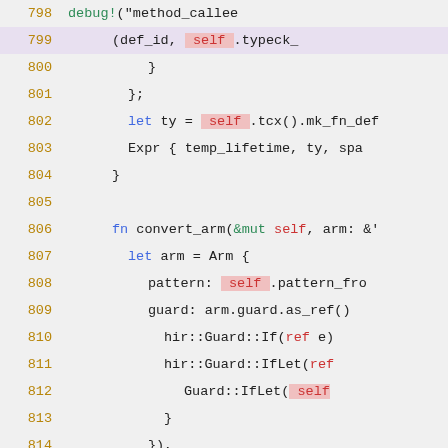[Figure (screenshot): Source code editor screenshot showing Rust code lines 798-816 with syntax highlighting. Line 799 is highlighted with an arrow indicator on the left margin. Code shows debug! macro call, a let binding, Expr struct, fn convert_arm function definition, Arm struct construction with pattern, guard, hir::Guard variants, and body/lint_level fields.]